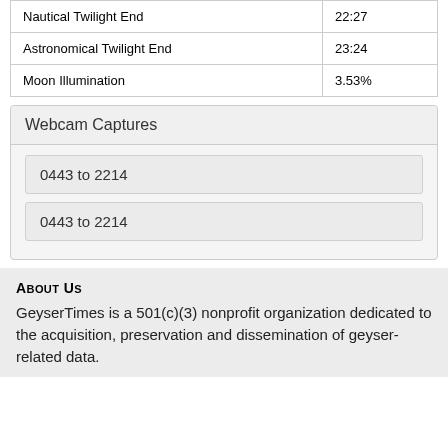|  |  |
| --- | --- |
| Nautical Twilight End | 22:27 |
| Astronomical Twilight End | 23:24 |
| Moon Illumination | 3.53% |
Webcam Captures
0443 to 2214
0443 to 2214
About Us
GeyserTimes is a 501(c)(3) nonprofit organization dedicated to the acquisition, preservation and dissemination of geyser-related data.